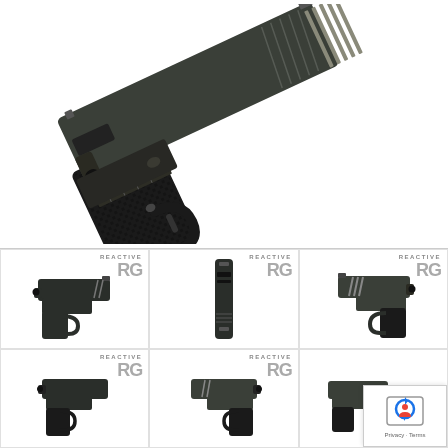[Figure (photo): Large close-up photo of a custom pistol (semi-automatic handgun) with textured black grip and dark gray/olive slide with diagonal cuts and silver accent stripes, shown at an angle against white background]
[Figure (photo): Thumbnail: left side view of custom pistol with 'REACTIVE RG' watermark]
[Figure (photo): Thumbnail: top-down view of pistol slide showing front sight, with 'REACTIVE RG' watermark]
[Figure (photo): Thumbnail: right side view of custom pistol with 'REACTIVE RG' watermark]
[Figure (photo): Thumbnail: front-left angled view of pistol with 'REACTIVE RG' watermark]
[Figure (photo): Thumbnail: front-right angled view of pistol with 'REACTIVE RG' watermark]
[Figure (screenshot): Privacy/reCAPTCHA overlay in bottom-right corner with shield icon and 'Privacy + Terms' text]